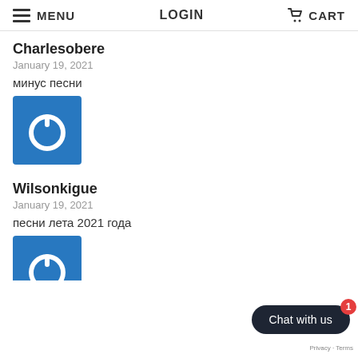MENU   LOGIN   CART
Charlesobere
January 19, 2021
минус песни
[Figure (logo): Blue square with white power/link icon]
Wilsonkigue
January 19, 2021
песни лета 2021 года
[Figure (logo): Blue square with white power/link icon (partial, bottom of page)]
Chat with us